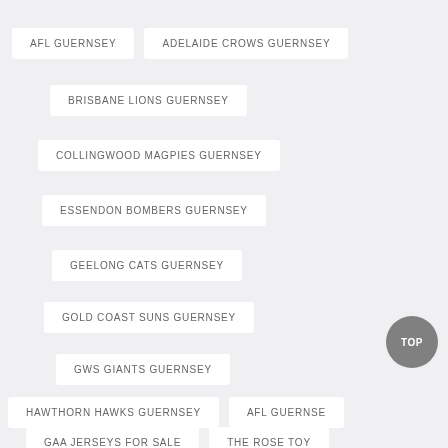AFL GUERNSEY
ADELAIDE CROWS GUERNSEY
BRISBANE LIONS GUERNSEY
COLLINGWOOD MAGPIES GUERNSEY
ESSENDON BOMBERS GUERNSEY
GEELONG CATS GUERNSEY
GOLD COAST SUNS GUERNSEY
GWS GIANTS GUERNSEY
HAWTHORN HAWKS GUERNSEY
AFL GUERNSEY
GAA JERSEYS FOR SALE
THE ROSE TOY